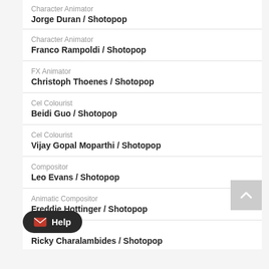Character Animator
Jorge Duran / Shotopop
Character Animator
Franco Rampoldi / Shotopop
FX Animator
Christoph Thoenes / Shotopop
Cel Colourist
Beidi Guo / Shotopop
Cel Colourist
Vijay Gopal Moparthi / Shotopop
Compositor
Leo Evans / Shotopop
Animatic Compositor
Freddie Hottinger / Shotopop
Ricky Charalambides / Shotopop